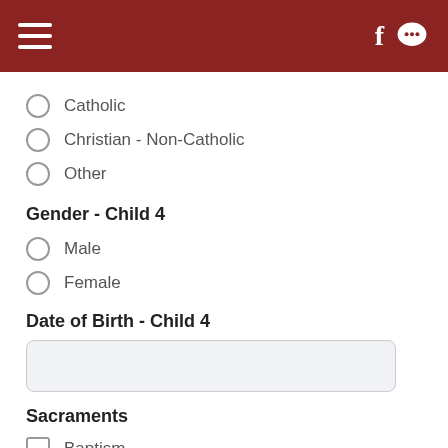[Figure (screenshot): Mobile app top navigation bar with dark red background, hamburger menu icon on left, Facebook 'f' icon and chat bubble icon on right]
Catholic
Christian - Non-Catholic
Other
Gender - Child 4
Male
Female
Date of Birth - Child 4
Sacraments
Baptism
First Penance (Confession)
First Communion (Eucharist)